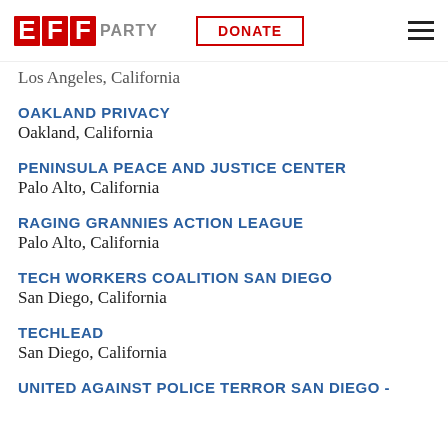EFF PARTY | DONATE
Los Angeles, California
OAKLAND PRIVACY
Oakland, California
PENINSULA PEACE AND JUSTICE CENTER
Palo Alto, California
RAGING GRANNIES ACTION LEAGUE
Palo Alto, California
TECH WORKERS COALITION SAN DIEGO
San Diego, California
TECHLEAD
San Diego, California
UNITED AGAINST POLICE TERROR SAN DIEGO -